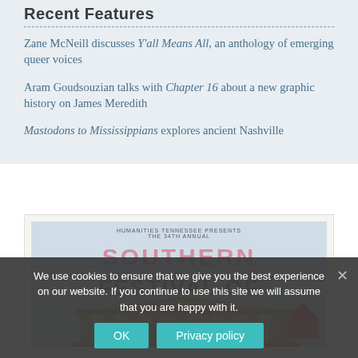Recent Features
Zane McNeill discusses Y'all Means All, an anthology of emerging queer voices
Aram Goudsouzian talks with Chapter 16 about a new graphic history on James Meredith
Mastodons to Mississippians explores ancient Nashville
[Figure (illustration): Southern Festival of Books poster/banner illustration showing a building resembling a Greek temple with colorful text reading SOUTHERN FESTIVAL OF BOOKS, presented by Humanities Tennessee]
We use cookies to ensure that we give you the best experience on our website. If you continue to use this site we will assume that you are happy with it.
OK   Privacy policy